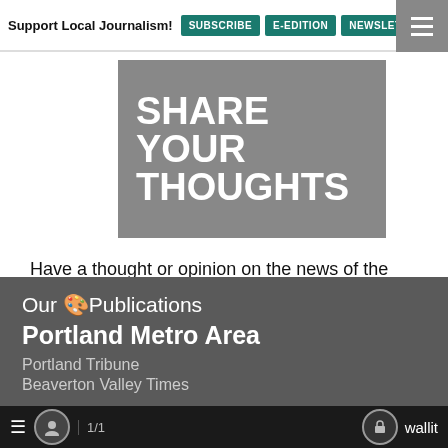Support Local Journalism! SUBSCRIBE E-EDITION NEWSLET
[Figure (illustration): Gray banner graphic with bold white text reading SHARE YOUR THOUGHTS]
Have a thought or opinion on the news of the day? Get on your soapbox and share your opinions with the world. Send us a Letter to the Editor!
Our 🏠Publications
Portland Metro Area
Portland Tribune
Beaverton Valley Times
≡  👤  1/1  🔒 wallit